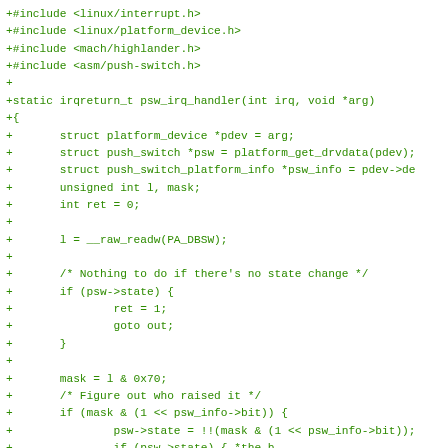+#include <linux/interrupt.h>
+#include <linux/platform_device.h>
+#include <mach/highlander.h>
+#include <asm/push-switch.h>
+
+static irqreturn_t psw_irq_handler(int irq, void *arg)
+{
+       struct platform_device *pdev = arg;
+       struct push_switch *psw = platform_get_drvdata(pdev);
+       struct push_switch_platform_info *psw_info = pdev->de
+       unsigned int l, mask;
+       int ret = 0;
+
+       l = __raw_readw(PA_DBSW);
+
+       /* Nothing to do if there's no state change */
+       if (psw->state) {
+               ret = 1;
+               goto out;
+       }
+
+       mask = l & 0x70;
+       /* Figure out who raised it */
+       if (mask & (1 << psw_info->bit)) {
+               psw->state = !!(mask & (1 << psw_info->bit));
+               if (psw->state) { *the b.....